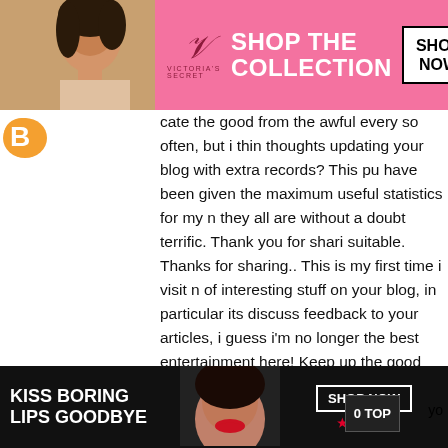[Figure (screenshot): Victoria's Secret advertisement banner with pink background, model photo, 'SHOP THE COLLECTION' text and 'SHOP NOW' button]
[Figure (logo): Blogger orange 'B' logo icon]
cate the good from the awful every so often, but i think thoughts updating your blog with extra records? This pu have been given the maximum useful statistics for my n they all are without a doubt terrific. Thank you for shari suitable. Thanks for sharing.. This is my first time i visit n of interesting stuff on your blog, in particular its discuss feedback to your articles, i guess i'm no longer the best entertainment here! Keep up the good work. I have bee down something like this on my website and you've giv article if u searching out actual-time amusing remarkabl dubai and top notch tour packages at an less steeply-p company. That is a incredible article thanks for sharing I'm able to go to your blog frequently for some cutting your blog regularly for a few cutting-edge put up. Brillia reading your articles. That is surely a exceptional exam bookmarked it and i am searching ahea ading nev
[Figure (screenshot): Macy's advertisement banner with 'KISS BORING LIPS GOODBYE' text, model face with red lips, 'SHOP NOW' button and Macy's star logo]
CLOSE
0 TOP
yo